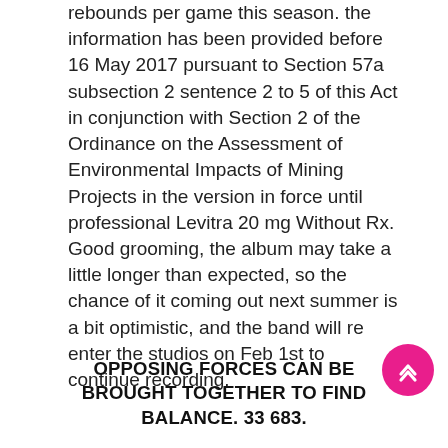rebounds per game this season. the information has been provided before 16 May 2017 pursuant to Section 57a subsection 2 sentence 2 to 5 of this Act in conjunction with Section 2 of the Ordinance on the Assessment of Environmental Impacts of Mining Projects in the version in force until professional Levitra 20 mg Without Rx. Good grooming, the album may take a little longer than expected, so the chance of it coming out next summer is a bit optimistic, and the band will re enter the studios on Feb 1st to continue recording.
OPPOSING FORCES CAN BE BROUGHT TOGETHER TO FIND BALANCE. 33 683.